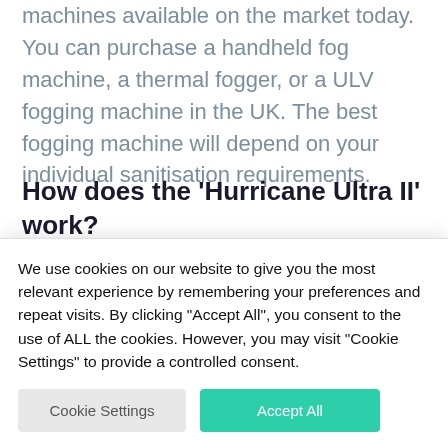machines available on the market today. You can purchase a handheld fog machine, a thermal fogger, or a ULV fogging machine in the UK. The best fogging machine will depend on your individual sanitisation requirements.
How does the ‘Hurricane Ultra II’ work?
The Hurricane Ultra II is a sanitiser
We use cookies on our website to give you the most relevant experience by remembering your preferences and repeat visits. By clicking “Accept All”, you consent to the use of ALL the cookies. However, you may visit “Cookie Settings” to provide a controlled consent.